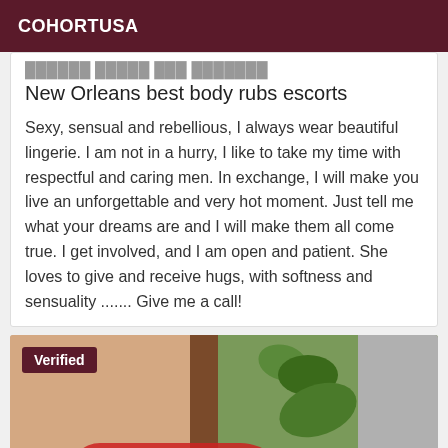COHORTUSA
New Orleans best body rubs escorts
Sexy, sensual and rebellious, I always wear beautiful lingerie. I am not in a hurry, I like to take my time with respectful and caring men. In exchange, I will make you live an unforgettable and very hot moment. Just tell me what your dreams are and I will make them all come true. I get involved, and I am open and patient. She loves to give and receive hugs, with softness and sensuality ....... Give me a call!
[Figure (photo): Photo of a person in red lingerie with wooden furniture and green tropical foliage in the background. A 'Verified' badge is shown in the top-left corner of the image.]